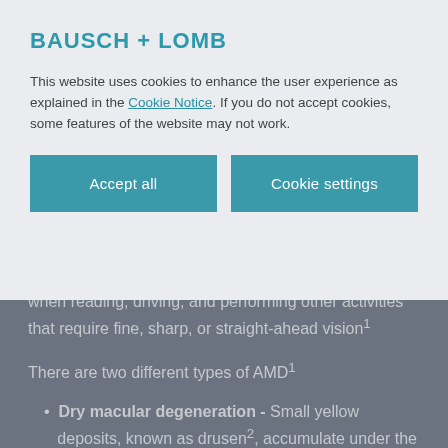[Figure (logo): Bausch + Lomb logo in teal color]
This website uses cookies to enhance the user experience as explained in the Cookie Notice. If you do not accept cookies, some features of the website may not work.
Accept all
Cookie settings
when reading, driving, and performing other activities that require fine, sharp, or straight-ahead vision¹
There are two different types of AMD¹
Dry macular degeneration - Small yellow deposits, known as drusen², accumulate under the